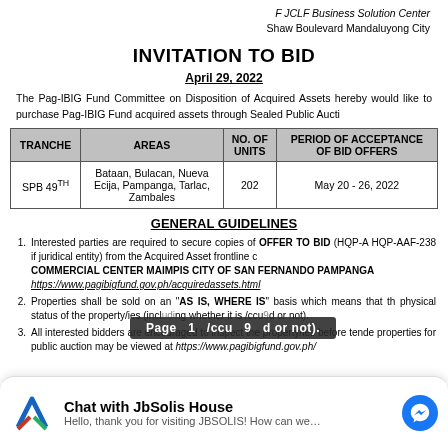JCLF Business Solution Center
Shaw Boulevard Mandaluyong City
INVITATION TO BID
April 29, 2022
The Pag-IBIG Fund Committee on Disposition of Acquired Assets hereby would like to purchase Pag-IBIG Fund acquired assets through Sealed Public Auction
| TRANCHE | AREAS | NO. OF UNITS | PERIOD OF ACCEPTANCE OF BID OFFERS |
| --- | --- | --- | --- |
| SPB 49TH | Bataan, Bulacan, Nueva Ecija, Pampanga, Tarlac, Zambales | 202 | May 20 - 26, 2022 |
GENERAL GUIDELINES
Interested parties are required to secure copies of OFFER TO BID (HQP-A HQP-AAF-238 if juridical entity) from the Acquired Asset frontline c COMMERCIAL CENTER MAIMPIS CITY OF SAN FERNANDO PAMPANGA https://www.pagibigfund.gov.ph/acquiredassets.html
Properties shall be sold on an "AS IS, WHERE IS" basis which means that the physical status of the property/ies (including whether it is /occupied or not).
All interested bidders are encouraged to inspect the property/ies before tende properties for public auction may be viewed at https://www.pagibigfund.gov.ph/